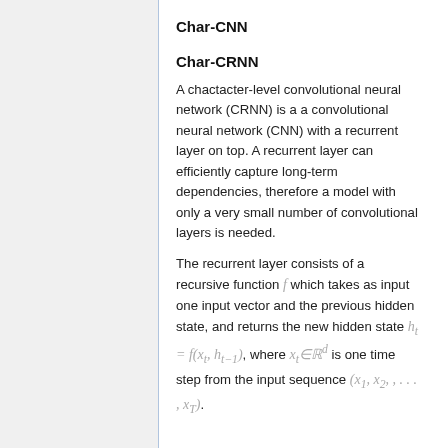Char-CNN
Char-CRNN
A chactacter-level convolutional neural network (CRNN) is a a convolutional neural network (CNN) with a recurrent layer on top. A recurrent layer can efficiently capture long-term dependencies, therefore a model with only a very small number of convolutional layers is needed.
The recurrent layer consists of a recursive function f which takes as input one input vector and the previous hidden state, and returns the new hidden state h_t = f(x_t, h_{t-1}), where x_t ∈ ℝ^d is one time step from the input sequence (x_1, x_2, , ..., x_T).